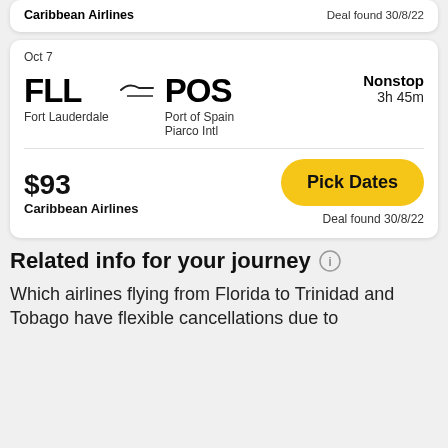Caribbean Airlines — Deal found 30/8/22
Oct 7
FLL → POS — Fort Lauderdale — Port of Spain Piarco Intl — Nonstop 3h 45m
$93
Caribbean Airlines
Pick Dates
Deal found 30/8/22
Related info for your journey
Which airlines flying from Florida to Trinidad and Tobago have flexible cancellations due to